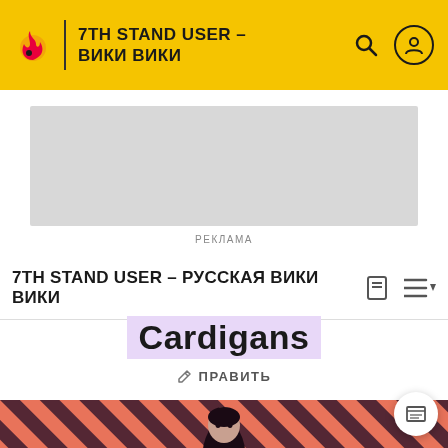7TH STAND USER – РУССКАЯ ВИКИ ВИКИ
[Figure (other): Advertisement placeholder (gray rectangle)]
РЕКЛАМА
7TH STAND USER – РУССКАЯ ВИКИ ВИКИ
Cardigans
✏ ПРАВИТЬ
[Figure (photo): Hero image with diagonal coral/red and dark stripes background; dark-haired person in black clothing visible from waist up in center foreground]